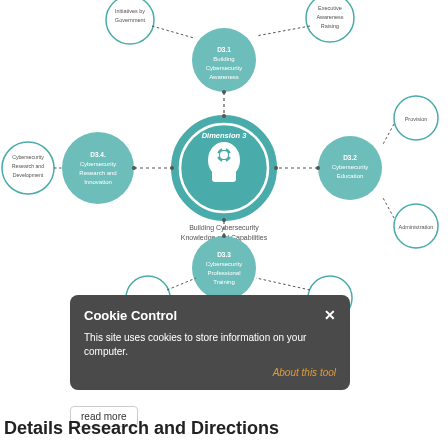[Figure (infographic): Dimension 3 cybersecurity knowledge and capabilities diagram. Central large teal circle with head/gear icon labeled 'Dimension 3' and 'Building Cybersecurity Knowledge and Capabilities'. Surrounding teal circles: D3.1 Building Cybersecurity Awareness (top), D3.2 Cybersecurity Education (right), D3.3 Cybersecurity Professional Training (bottom), D3.4 Cybersecurity Research and Innovation (left). Outer white circles with teal borders: Initiatives by Government (top-left), Executive Awareness Raising (top-right), Provision (right-top), Administration (right-bottom), Provision (bottom-right), Uptake (bottom-left), Cybersecurity Research and Development (left). Connected by dotted lines.]
Cookie Control
This site uses cookies to store information on your computer.
About this tool
read more
Details Research and Directions